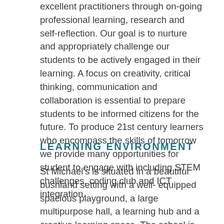excellent practitioners through on-going professional learning, research and self-reflection. Our goal is to nurture and appropriately challenge our students to be actively engaged in their learning. A focus on creativity, critical thinking, communication and collaboration is essential to prepare students to be informed citizens for the future. To produce 21st century learners who encompass the skills of tomorrow we provide many opportunities for student to engage with including STEM challenges, coding club and ICT integration.
LEARNING ENVIRONMENT
St Michael's is situated in a beautiful bushland setting with a well- equipped spacious playground, a large multipurpose hall, a learning hub and a creative learning space. The school is well equipped with advance technology and all